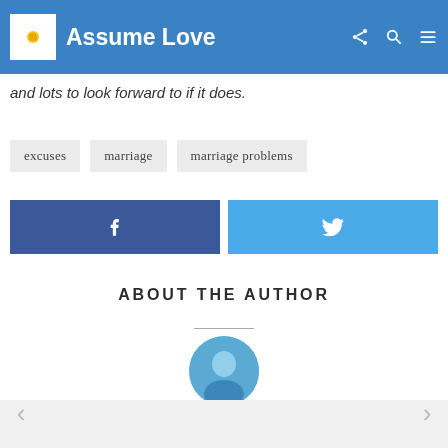Assume Love
and lots to look forward to if it does.
excuses
marriage
marriage problems
[Figure (other): Facebook share button with f icon]
[Figure (other): Twitter share button with bird icon]
ABOUT THE AUTHOR
[Figure (photo): Author circular profile photo, partially visible at bottom]